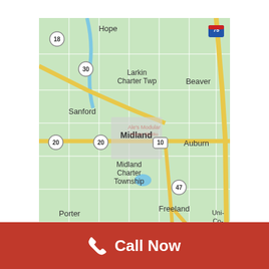[Figure (map): Google Maps view of Midland, Michigan area showing Midland city, Midland Charter Township, Larkin Charter Twp, Sanford, Hope, Beaver, Auburn, Freeland, Porter locations. Roads including US-10, I-75, and routes 18, 20, 30, 47 are visible.]
Call Now